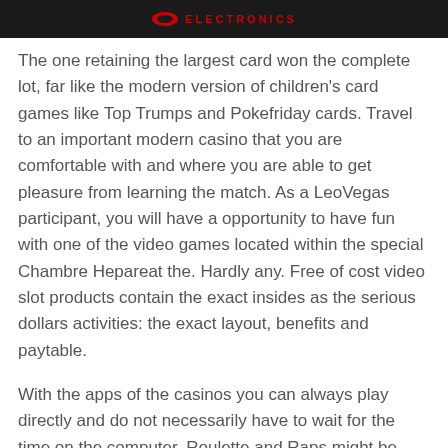ELECTRONICS
The one retaining the largest card won the complete lot, far like the modern version of children's card games like Top Trumps and Pokefriday cards. Travel to an important modern casino that you are comfortable with and where you are able to get pleasure from learning the match. As a LeoVegas participant, you will have a opportunity to have fun with one of the video games located within the special Chambre Hepareat the. Hardly any. Free of cost video slot products contain the exact insides as the serious dollars activities: the exact layout, benefits and paytable.
With the apps of the casinos you can always play directly and do not necessarily have to wait for the time on the computer. Roulette and Raps might be many other activities that a single may well have on